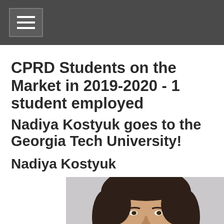☰
CPRD Students on the Market in 2019-2020 - 1 student employed
Nadiya Kostyuk goes to the Georgia Tech University!
Nadiya Kostyuk
[Figure (photo): Headshot photo of Nadiya Kostyuk, a woman with dark brown hair, light complexion, shown from shoulders up against a light gray background.]